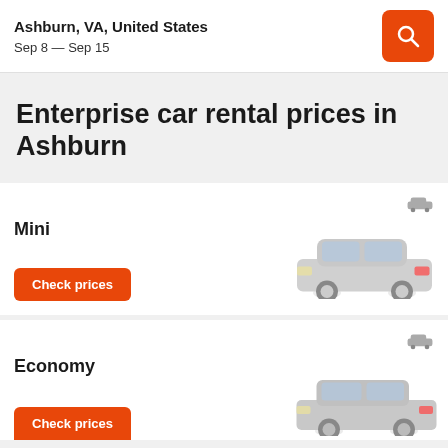Ashburn, VA, United States
Sep 8 — Sep 15
Enterprise car rental prices in Ashburn
Mini
Check prices
Economy
Check prices